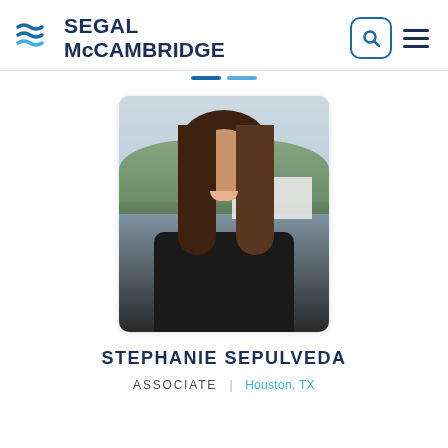[Figure (logo): Segal McCambridge logo with stylized wave icon and firm name in dark navy blue]
[Figure (photo): Professional headshot of Stephanie Sepulveda, a woman with long wavy brown hair, wearing a black blazer, smiling, with a blurred outdoor background of trees and buildings]
STEPHANIE SEPULVEDA
ASSOCIATE | Houston, TX